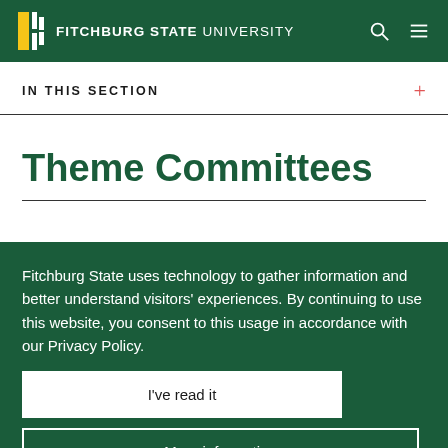FITCHBURG STATE UNIVERSITY
IN THIS SECTION
Theme Committees
Fitchburg State uses technology to gather information and better understand visitors' experiences. By continuing to use this website, you consent to this usage in accordance with our Privacy Policy.
I've read it
More information